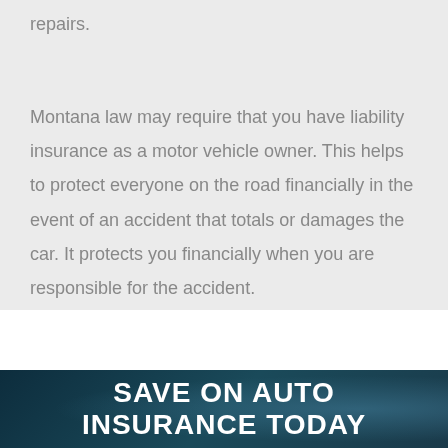repairs.
Montana law may require that you have liability insurance as a motor vehicle owner. This helps to protect everyone on the road financially in the event of an accident that totals or damages the car. It protects you financially when you are responsible for the accident.
SAVE ON AUTO INSURANCE TODAY